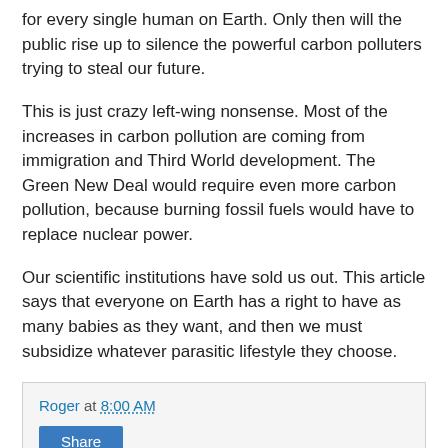for every single human on Earth. Only then will the public rise up to silence the powerful carbon polluters trying to steal our future.
This is just crazy left-wing nonsense. Most of the increases in carbon pollution are coming from immigration and Third World development. The Green New Deal would require even more carbon pollution, because burning fossil fuels would have to replace nuclear power.
Our scientific institutions have sold us out. This article says that everyone on Earth has a right to have as many babies as they want, and then we must subsidize whatever parasitic lifestyle they choose.
Roger at 8:00 AM
Share
No comments: